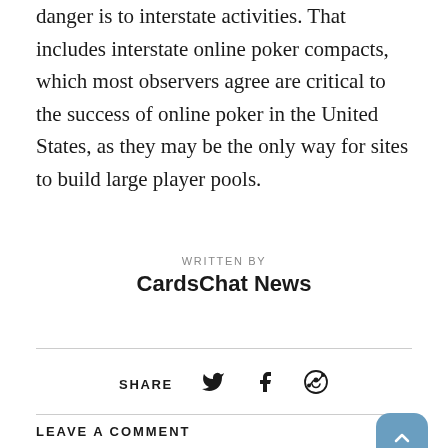danger is to interstate activities. That includes interstate online poker compacts, which most observers agree are critical to the success of online poker in the United States, as they may be the only way for sites to build large player pools.
WRITTEN BY
CardsChat News
SHARE
LEAVE A COMMENT